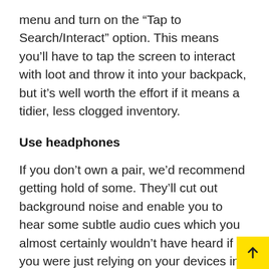menu and turn on the “Tap to Search/Interact” option. This means you’ll have to tap the screen to interact with loot and throw it into your backpack, but it’s well worth the effort if it means a tidier, less clogged inventory.
Use headphones
If you don’t own a pair, we’d recommend getting hold of some. They’ll cut out background noise and enable you to hear some subtle audio cues which you almost certainly wouldn’t have heard if you were just relying on your devices in-built speakers.
You’ll be able to hear footsteps and the tinkle of golden chests, as well as get you more